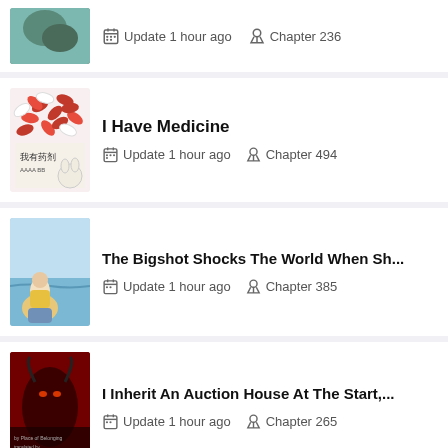Update 1 hour ago | Chapter 236
I Have Medicine | Update 1 hour ago | Chapter 494
The Bigshot Shocks The World When Sh... | Update 1 hour ago | Chapter 385
I Inherit An Auction House At The Start,... | Update 1 hour ago | Chapter 265
(partial card bottom)